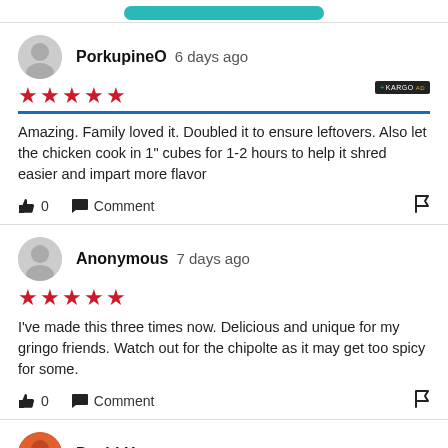PorkupineO  6 days ago  ★★★★★  Amazing. Family loved it. Doubled it to ensure leftovers. Also let the chicken cook in 1" cubes for 1-2 hours to help it shred easier and impart more flavor  👍 0  Comment
Anonymous  7 days ago  ★★★★★  I've made this three times now. Delicious and unique for my gringo friends. Watch out for the chipolte as it may get too spicy for some.  👍 0  Comment
David H.  23 days ago